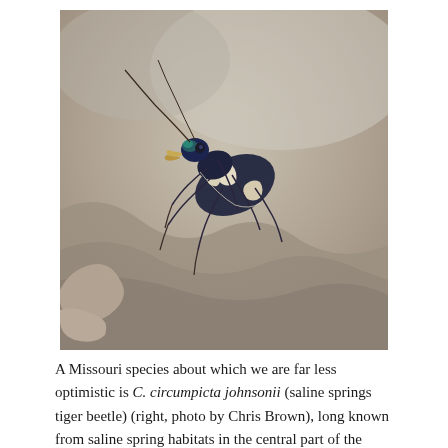[Figure (photo): Close-up photograph of a saline springs tiger beetle (C. circumpicta johnsonii) on a rocky surface. The beetle has a dark blue/navy body with cream-colored markings along the edges of its elytra, a metallic blue-green head, and long spindly legs. The background is blurred rocky terrain.]
A Missouri species about which we are far less optimistic is C. circumpicta johnsonii (saline springs tiger beetle) (right, photo by Chris Brown), long known from saline spring habitats in the central part of the state. The Missouri population is highly disjunct from the main